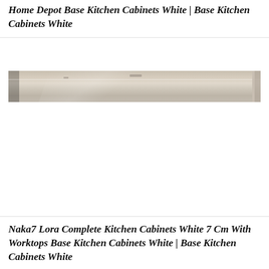Home Depot Base Kitchen Cabinets White | Base Kitchen Cabinets White
[Figure (photo): Photograph of white kitchen cabinets ceiling area, showing a wide horizontal strip of cabinet tops and ceiling with light fixtures.]
Naka7 Lora Complete Kitchen Cabinets White 7 Cm With Worktops Base Kitchen Cabinets White | Base Kitchen Cabinets White